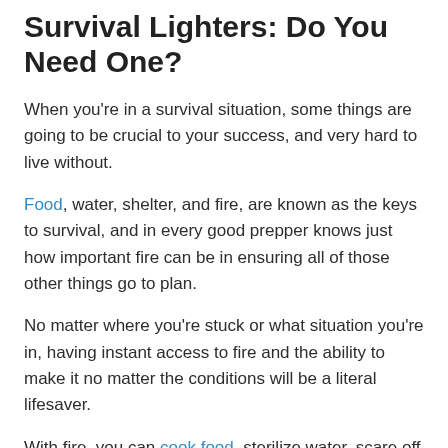Survival Lighters: Do You Need One?
When you're in a survival situation, some things are going to be crucial to your success, and very hard to live without.
Food, water, shelter, and fire, are known as the keys to survival, and in every good prepper knows just how important fire can be in ensuring all of those other things go to plan.
No matter where you're stuck or what situation you're in, having instant access to fire and the ability to make it no matter the conditions will be a literal lifesaver.
With fire, you can cook food, sterilize water, scare off wild